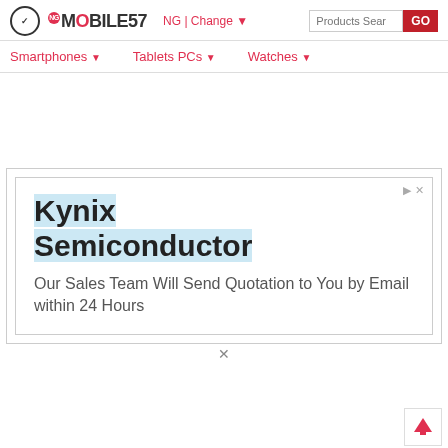Mobile57 NG | Change — Products Search GO
Smartphones ▼   Tablets PCs ▼   Watches ▼
[Figure (screenshot): Advertisement for Kynix Semiconductor with text: 'Kynix Semiconductor — Our Sales Team Will Send Quotation to You by Email within 24 Hours']